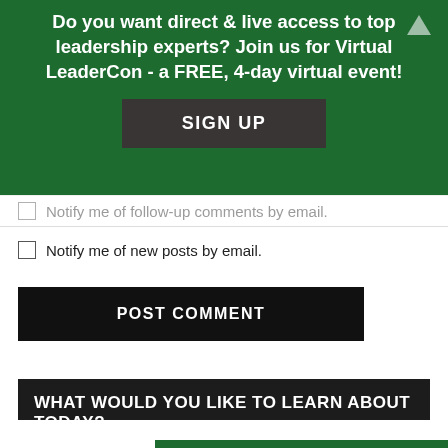Do you want direct & live access to top leadership experts? Join us for Virtual LeaderCon - a FREE, 4-day virtual event!
SIGN UP
Notify me of follow-up comments by email.
Notify me of new posts by email.
POST COMMENT
WHAT WOULD YOU LIKE TO LEARN ABOUT TODAY?
CAREER DEVELOPMENT